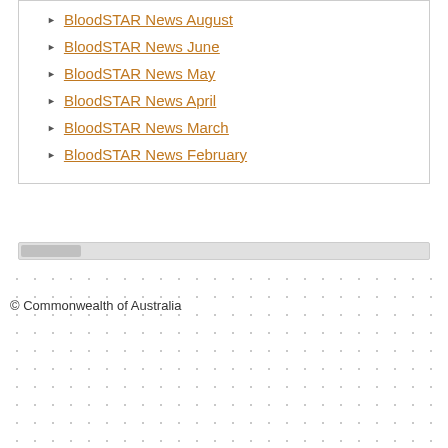BloodSTAR News August
BloodSTAR News June
BloodSTAR News May
BloodSTAR News April
BloodSTAR News March
BloodSTAR News February
© Commonwealth of Australia